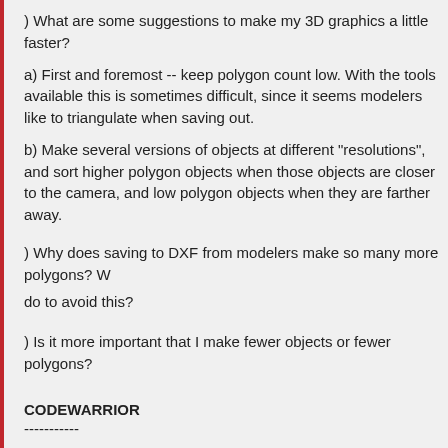) What are some suggestions to make my 3D graphics a little faster?
a) First and foremost -- keep polygon count low. With the tools available this is sometimes difficult, since it seems modelers like to triangulate when saving out.
b) Make several versions of objects at different "resolutions", and sort higher polygon objects when those objects are closer to the camera, and low polygon objects when they are farther away.
) Why does saving to DXF from modelers make so many more polygons? W do to avoid this?
) Is it more important that I make fewer objects or fewer polygons?
CODEWARRIOR
-----------
) What can I do with Codewarrior that I can't do with Siggons?